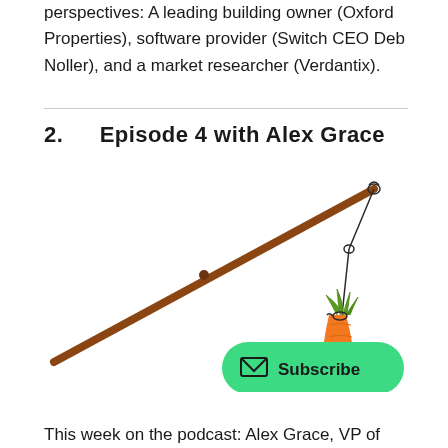perspectives: A leading building owner (Oxford Properties), software provider (Switch CEO Deb Noller), and a market researcher (Verdantix).
2.   Episode 4 with Alex Grace
[Figure (illustration): A stick (wooden rod) with a string tied at the end from which a carrot hangs, like a carrot-on-a-stick. A green subscribe button with envelope icon is overlaid in the bottom right.]
This week on the podcast: Alex Grace, VP of